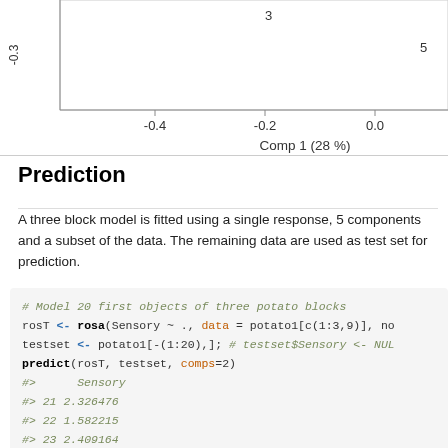[Figure (continuous-plot): Partial fragment of a biplot/score plot showing x-axis labels (-0.4, -0.2, 0.0) and axis label 'Comp 1 (28 %)'. Y-axis shows value -0.3. Data point labeled 3 and 5 are partially visible.]
Prediction
A three block model is fitted using a single response, 5 components and a subset of the data. The remaining data are used as test set for prediction.
# Model 20 first objects of three potato blocks
rosT <- rosa(Sensory ~ ., data = potato1[c(1:3,9)], no
testset <- potato1[-(1:20),]; # testset$Sensory <- NUL
predict(rosT, testset, comps=2)
#>     Sensory
#> 21 2.326476
#> 22 1.582215
#> 23 2.409164